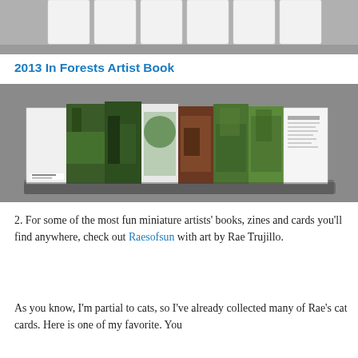[Figure (photo): Top portion of a photo showing white folded/accordion-style artist books on a gray background, cropped at top of page]
2013 In Forests Artist Book
[Figure (photo): Photo of an accordion-style artist book titled 'In Forests' fully expanded, showing 8 panels with photographs of various forest scenes including ferns, evergreen trees, and mossy plants. The book is displayed on a gray background.]
2. For some of the most fun miniature artists' books, zines and cards you'll find anywhere, check out Raesofsun with art by Rae Trujillo.
As you know, I'm partial to cats, so I've already collected many of Rae's cat cards. Here is one of my favorite. You